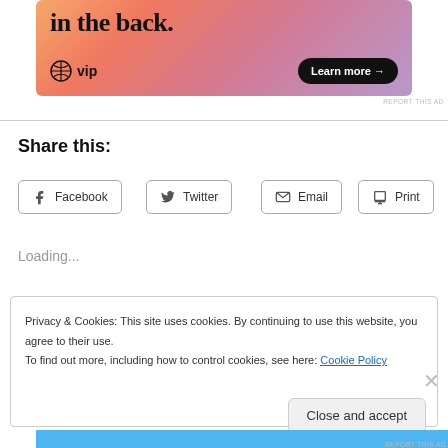[Figure (illustration): WordPress VIP advertisement banner with gradient orange/pink/purple background, showing partial text 'in the back.' with WordPress VIP logo and 'Learn more →' button]
REPORT THIS AD
Share this:
Facebook
Twitter
Email
Print
Loading...
Privacy & Cookies: This site uses cookies. By continuing to use this website, you agree to their use.
To find out more, including how to control cookies, see here: Cookie Policy
Close and accept